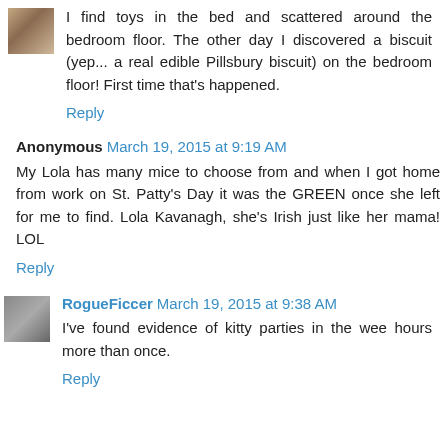[Figure (photo): Small avatar image of a cat or pet, top left corner]
I find toys in the bed and scattered around the bedroom floor. The other day I discovered a biscuit (yep... a real edible Pillsbury biscuit) on the bedroom floor! First time that's happened.
Reply
Anonymous March 19, 2015 at 9:19 AM
My Lola has many mice to choose from and when I got home from work on St. Patty's Day it was the GREEN once she left for me to find. Lola Kavanagh, she's Irish just like her mama! LOL
Reply
[Figure (photo): Small avatar image, bottom left, black and white speckled]
RogueFiccer March 19, 2015 at 9:38 AM
I've found evidence of kitty parties in the wee hours more than once.
Reply